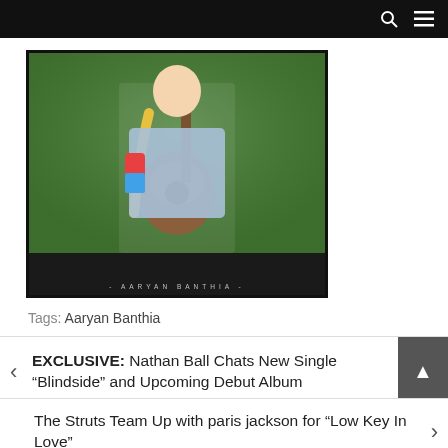Navigation bar with search and menu icons
[Figure (photo): Album cover photo of Aaryan Banthia playing acoustic guitar outdoors on green grass, wearing a light blue denim shirt with colorful sleeve and yellow guitar strap. Photo is framed with a dark border. Text at bottom reads: - AARYAN BANTHIA -]
Tags: Aaryan Banthia
EXCLUSIVE: Nathan Ball Chats New Single “Blindside” and Upcoming Debut Album
The Struts Team Up with paris jackson for “Low Key In Love”